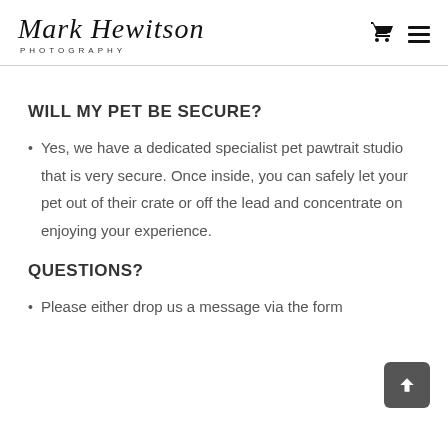Mark Hewitson Photography
WILL MY PET BE SECURE?
Yes, we have a dedicated specialist pet pawtrait studio that is very secure. Once inside, you can safely let your pet out of their crate or off the lead and concentrate on enjoying your experience.
QUESTIONS?
Please either drop us a message via the form